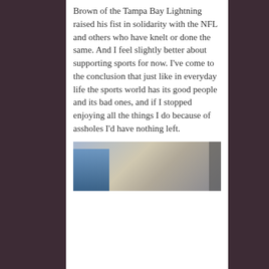Brown of the Tampa Bay Lightning raised his fist in solidarity with the NFL and others who have knelt or done the same. And I feel slightly better about supporting sports for now. I've come to the conclusion that just like in everyday life the sports world has its good people and its bad ones, and if I stopped enjoying all the things I do because of assholes I'd have nothing left.
[Figure (photo): A photo showing what appears to be flags and objects on a desk or table, partially visible at the bottom of the page.]